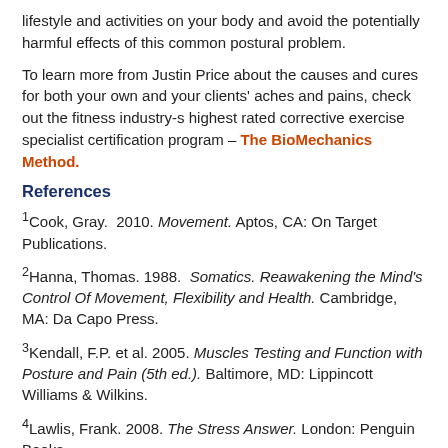lifestyle and activities on your body and avoid the potentially harmful effects of this common postural problem.
To learn more from Justin Price about the causes and cures for both your own and your clients' aches and pains, check out the fitness industry-s highest rated corrective exercise specialist certification program – The BioMechanics Method.
References
1Cook, Gray. 2010. Movement. Aptos, CA: On Target Publications.
2Hanna, Thomas. 1988. Somatics. Reawakening the Mind's Control Of Movement, Flexibility and Health. Cambridge, MA: Da Capo Press.
3Kendall, F.P. et al. 2005. Muscles Testing and Function with Posture and Pain (5th ed.). Baltimore, MD: Lippincott Williams & Wilkins.
4Lawlis, Frank. 2008. The Stress Answer. London: Penguin Books.